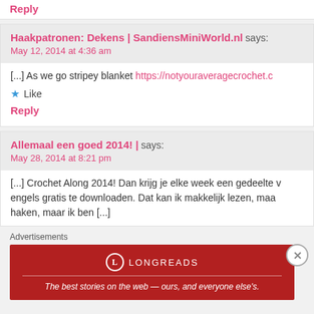Reply
Haakpatronen: Dekens | SandiensMiniWorld.nl says:
May 12, 2014 at 4:36 am
[...] As we go stripey blanket https://notyouraveragecrochet.c
Like
Reply
Allemaal een goed 2014! | says:
May 28, 2014 at 8:21 pm
[...] Crochet Along 2014! Dan krijg je elke week een gedeelte v engels gratis te downloaden. Dat kan ik makkelijk lezen, maa haken, maar ik ben [...]
Advertisements
[Figure (other): Longreads advertisement banner with red background. Logo circle with 'L', brand name LONGREADS, tagline: The best stories on the web — ours, and everyone else's.]